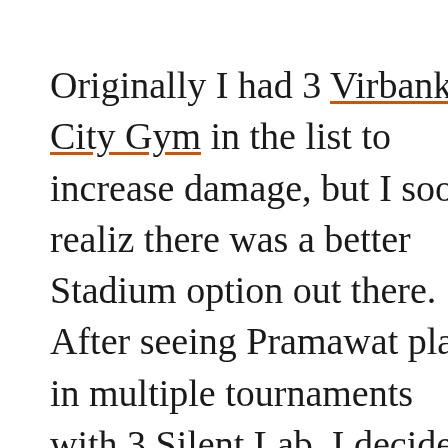Originally I had 3 Virbank City Gym in the list to increase damage, but I soon realized there was a better Stadium option out there. After seeing Pramawat play in multiple tournaments with 3 Silent Lab, I decided to try it out. I have never played a card that puts my opponent in a "I really wish you didn't play that card" position more than Silent Lab. Your goal for the first turn of game should almost always include a Silent Lab in that Stadium spot. In a format where nearly every single deck